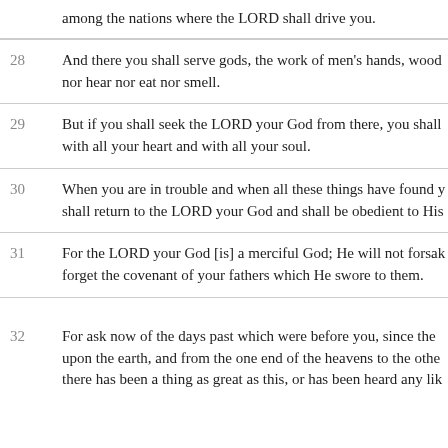among the nations where the LORD shall drive you.
28 And there you shall serve gods, the work of men's hands, wood nor hear nor eat nor smell.
29 But if you shall seek the LORD your God from there, you shall with all your heart and with all your soul.
30 When you are in trouble and when all these things have found y shall return to the LORD your God and shall be obedient to His
31 For the LORD your God [is] a merciful God; He will not forsa forget the covenant of your fathers which He swore to them.
32 For ask now of the days past which were before you, since the upon the earth, and from the one end of the heavens to the othe there has been a thing as great as this, or has been heard any lik